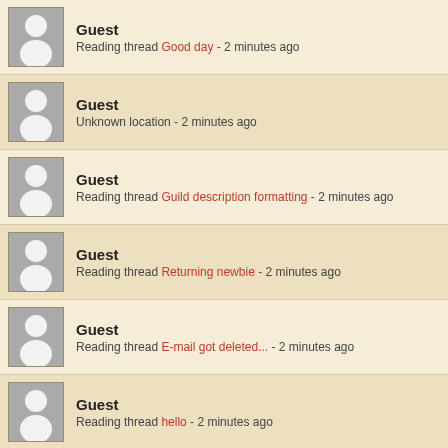Guest - Reading thread Good day - 2 minutes ago
Guest - Unknown location - 2 minutes ago
Guest - Reading thread Guild description formatting - 2 minutes ago
Guest - Reading thread Returning newbie - 2 minutes ago
Guest - Reading thread E-mail got deleted... - 2 minutes ago
Guest - Reading thread hello - 2 minutes ago
Guest - Reading thread Useful Albion Discord Servers - 2 minutes ago